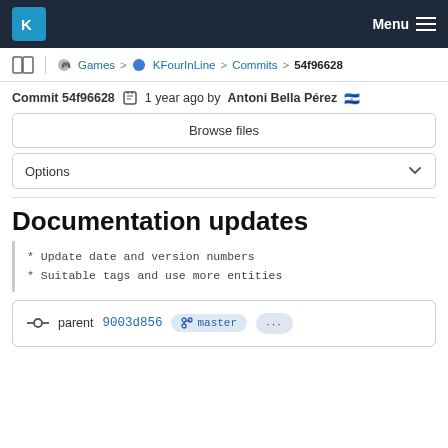KDE Menu
Games > KFourInLine > Commits > 54f96628
Commit 54f96628  1 year ago by Antoni Bella Pérez
Browse files
Options
Documentation updates
* Update date and version numbers
* Suitable tags and use more entities
parent 9003d856  master  ...